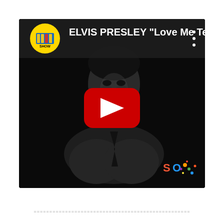[Figure (screenshot): YouTube video thumbnail screenshot showing Elvis Presley 'Love Me Tend...' with a black and white photo of Elvis, a red YouTube play button in the center, a yellow channel logo in the top left, three-dot menu icon in top right, and a colorful 'SO' watermark in the bottom right corner.]
==================================================